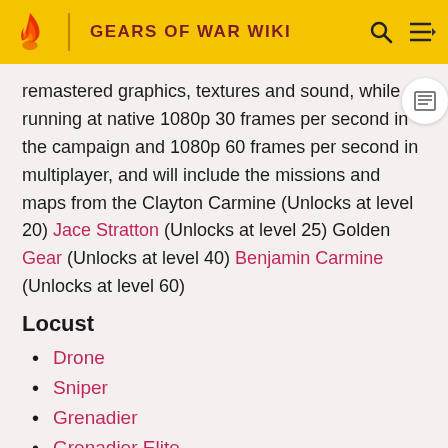GEARS OF WAR WIKI
remastered graphics, textures and sound, while running at native 1080p 30 frames per second in the campaign and 1080p 60 frames per second in multiplayer, and will include the missions and maps from the Clayton Carmine (Unlocks at level 20) Jace Stratton (Unlocks at level 25) Golden Gear (Unlocks at level 40) Benjamin Carmine (Unlocks at level 60)
Locust
Drone
Sniper
Grenadier
Grenadier Elite
Theron Guard
Theron Elite